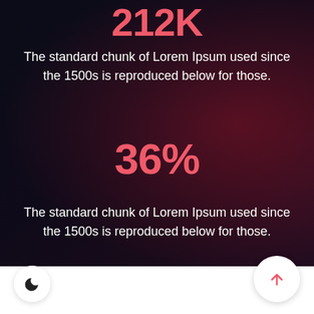212K
The standard chunk of Lorem Ipsum used since the 1500s is reproduced below for those.
36%
The standard chunk of Lorem Ipsum used since the 1500s is reproduced below for those.